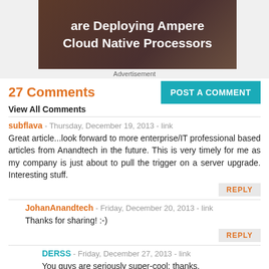[Figure (photo): Advertisement banner showing text 'are Deploying Ampere Cloud Native Processors' on a dark brown/grey background]
Advertisement
27 Comments
View All Comments
POST A COMMENT
subflava - Thursday, December 19, 2013 - link
Great article...look forward to more enterprise/IT professional based articles from Anandtech in the future. This is very timely for me as my company is just about to pull the trigger on a server upgrade. Interesting stuff.
REPLY
JohanAnandtech - Friday, December 20, 2013 - link
Thanks for sharing! :-)
REPLY
DERSS - Friday, December 27, 2013 - link
You guys are seriously super-cool; thanks.
REPLY
weeensteeck - Thursday, December 19, 2013 - link